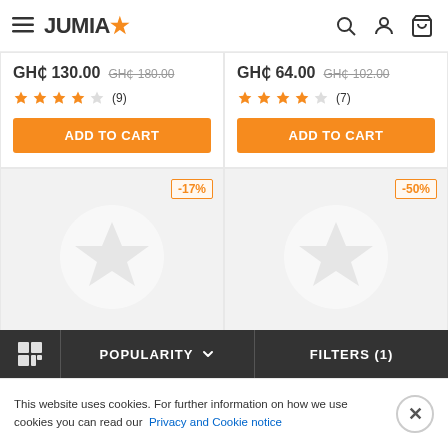JUMIA
GH₵ 130.00  GH₵ 180.00  ★★★★☆ (9)  ADD TO CART
GH₵ 64.00  GH₵ 102.00  ★★★★☆ (7)  ADD TO CART
[Figure (other): Product placeholder image with -17% discount badge]
[Figure (other): Product placeholder image with -50% discount badge]
POPULARITY ▾  FILTERS (1)
This website uses cookies. For further information on how we use cookies you can read our Privacy and Cookie notice